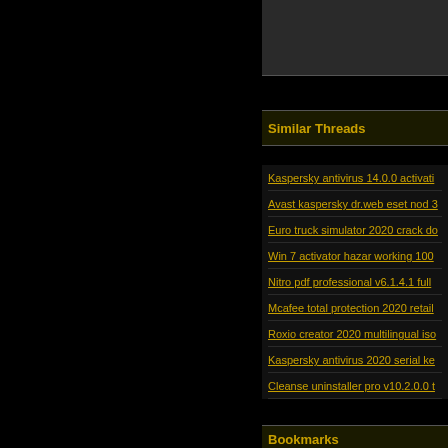Similar Threads
Kaspersky antivirus 14.0.0 activati
Avast kaspersky dr.web eset nod 3
Euro truck simulator 2020 crack do
Win 7 activator hazar working 100
Nitro pdf professional v6.1.4.1 full
Mcafee total protection 2020 retail
Roxio creator 2020 multilingual iso
Kaspersky antivirus 2020 serial ke
Cleanse uninstaller pro v10.2.0.0 t
Bookmarks